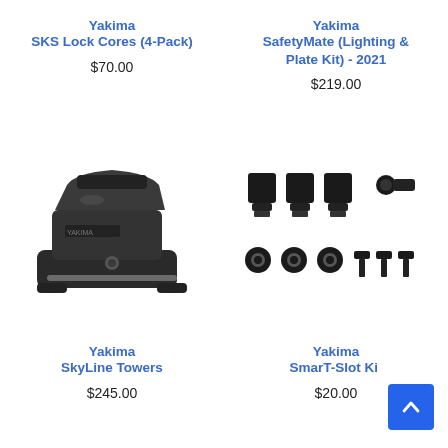Yakima
SKS Lock Cores (4-Pack)
$70.00
Yakima
SafetyMate (Lighting & Plate Kit) - 2021
$219.00
[Figure (photo): Photo of Yakima SkyLine Towers black rooftop rack mount/tower component]
[Figure (photo): Photo of Yakima SmarT-Slot Kit hardware components including clips, washers and bolts]
Yakima
SkyLine Towers
$245.00
Yakima
SmarT-Slot Kit
$20.00